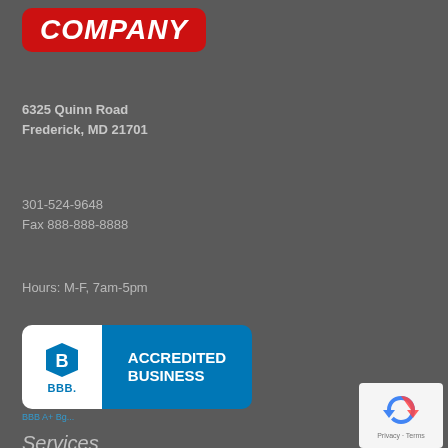[Figure (logo): Red rounded rectangle logo with white bold italic text reading COMPANY]
6325 Quinn Road
Frederick, MD 21701
301-524-9648
Fax 888-888-8888
Hours: M-F, 7am-5pm
[Figure (logo): BBB Accredited Business badge with blue and white shield logo on left and teal background with white text ACCREDITED BUSINESS on right]
BBB A+ Bg...
[Figure (other): reCAPTCHA widget showing circular arrow icon and Privacy - Terms text]
Services